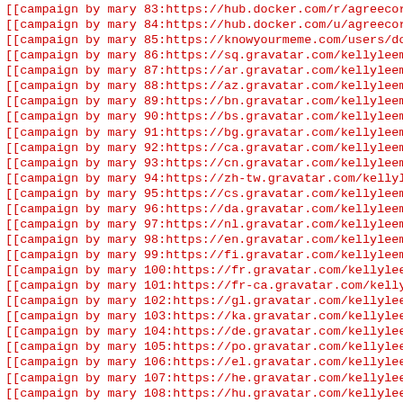[[campaign by mary 83:https://hub.docker.com/r/agreecornflo
[[campaign by mary 84:https://hub.docker.com/u/agreecornflo
[[campaign by mary 85:https://knowyourmeme.com/users/doroth
[[campaign by mary 86:https://sq.gravatar.com/kellyleemenus
[[campaign by mary 87:https://ar.gravatar.com/kellyleemenus
[[campaign by mary 88:https://az.gravatar.com/kellyleemenus
[[campaign by mary 89:https://bn.gravatar.com/kellyleemenus
[[campaign by mary 90:https://bs.gravatar.com/kellyleemenus
[[campaign by mary 91:https://bg.gravatar.com/kellyleemenus
[[campaign by mary 92:https://ca.gravatar.com/kellyleemenus
[[campaign by mary 93:https://cn.gravatar.com/kellyleemenus
[[campaign by mary 94:https://zh-tw.gravatar.com/kellyleeme
[[campaign by mary 95:https://cs.gravatar.com/kellyleemenus
[[campaign by mary 96:https://da.gravatar.com/kellyleemenus
[[campaign by mary 97:https://nl.gravatar.com/kellyleemenus
[[campaign by mary 98:https://en.gravatar.com/kellyleemenus
[[campaign by mary 99:https://fi.gravatar.com/kellyleemenus
[[campaign by mary 100:https://fr.gravatar.com/kellyleemenu
[[campaign by mary 101:https://fr-ca.gravatar.com/kellyleem
[[campaign by mary 102:https://gl.gravatar.com/kellyleemenu
[[campaign by mary 103:https://ka.gravatar.com/kellyleemenu
[[campaign by mary 104:https://de.gravatar.com/kellyleemenu
[[campaign by mary 105:https://po.gravatar.com/kellyleemenu
[[campaign by mary 106:https://el.gravatar.com/kellyleemenu
[[campaign by mary 107:https://he.gravatar.com/kellyleemenu
[[campaign by mary 108:https://hu.gravatar.com/kellyleemenu
[[campaign by mary 109:https://id.gravatar.com/kellyleemenu
[[campaign by mary 110:https://ga.gravatar.com/kellyleemenu
[[campaign by mary 111:https://it.gravatar.com/kellyleemenu
[[campaign by mary 112:https://ja.gravatar.com/kellyleemenu